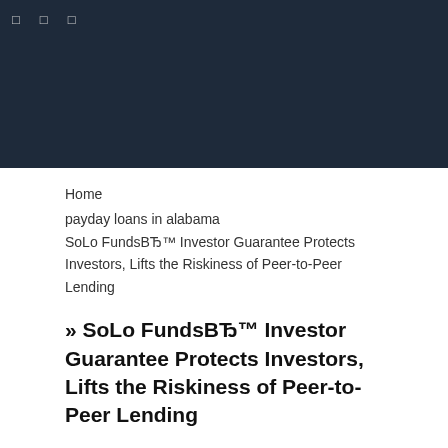☰ ☰ 🔍
Home
payday loans in alabama
SoLo FundsBЂ™ Investor Guarantee Protects Investors, Lifts the Riskiness of Peer-to-Peer Lending
» SoLo FundsBЂ™ Investor Guarantee Protects Investors, Lifts the Riskiness of Peer-to-Peer Lending